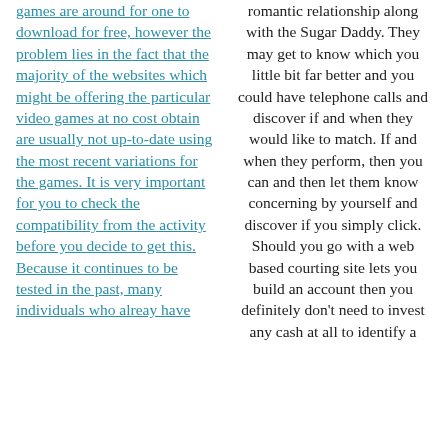games are around for one to download for free, however the problem lies in the fact that the majority of the websites which might be offering the particular video games at no cost obtain are usually not up-to-date using the most recent variations for the games. It is very important for you to check the compatibility from the activity before you decide to get this. Because it continues to be tested in the past, many individuals who alreay have
romantic relationship along with the Sugar Daddy. They may get to know which you little bit far better and you could have telephone calls and discover if and when they would like to match. If and when they perform, then you can and then let them know concerning by yourself and discover if you simply click. Should you go with a web based courting site lets you build an account then you definitely don't need to invest any cash at all to identify a